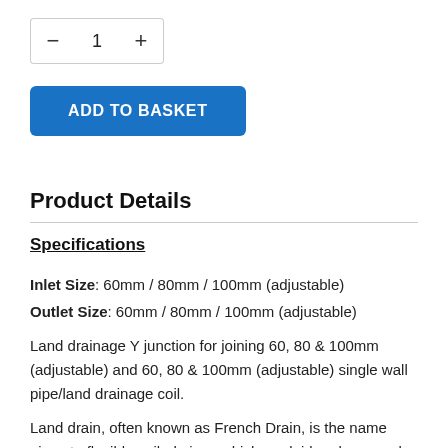[Figure (other): Quantity selector widget with minus button, number 1, and plus button]
[Figure (other): ADD TO BASKET button in blue]
Product Details
Specifications
Inlet Size: 60mm / 80mm / 100mm (adjustable)
Outlet Size: 60mm / 80mm / 100mm (adjustable)
Land drainage Y junction for joining 60, 80 & 100mm (adjustable) and 60, 80 & 100mm (adjustable) single wall pipe/land drainage coil.
Land drain, often known as French Drain, is the name given to flexible coiled pipes which are laid underground to alleviate